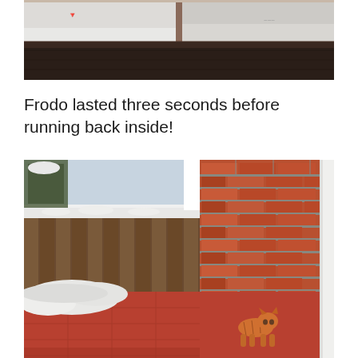[Figure (photo): Top portion of a photo showing a snowy outdoor scene, partially cropped, with a dark wooden shelf or ledge in the foreground and snowy landscape in the background.]
Frodo lasted three seconds before running back inside!
[Figure (photo): An orange tabby cat crouching on a red-tiled porch or doorstep next to a red brick wall, with snow covering parts of the ground and a wooden fence in the background.]